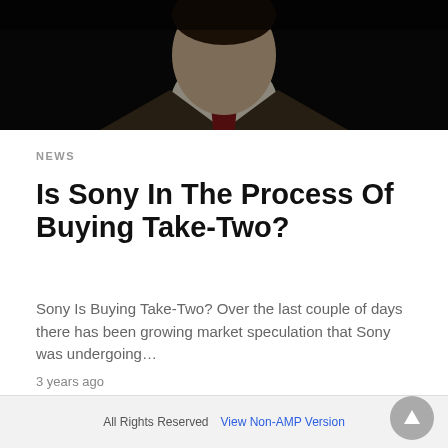[Figure (photo): Partial view of a man in a brown jacket and red tie against a dark background]
NEWS
Is Sony In The Process Of Buying Take-Two?
Sony Is Buying Take-Two? Over the last couple of days there has been growing market speculation that Sony was undergoing…
3 years ago
Show more Posts »»
All Rights Reserved  View Non-AMP Version